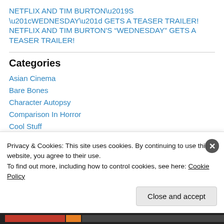NETFLIX AND TIM BURTON’S “WEDNESDAY” GETS A TEASER TRAILER!
Categories
Asian Cinema
Bare Bones
Character Autopsy
Comparison In Horror
Cool Stuff
Cult Classic Cuties
Date Movie
Halloween Favorites
Privacy & Cookies: This site uses cookies. By continuing to use this website, you agree to their use.
To find out more, including how to control cookies, see here: Cookie Policy
Close and accept